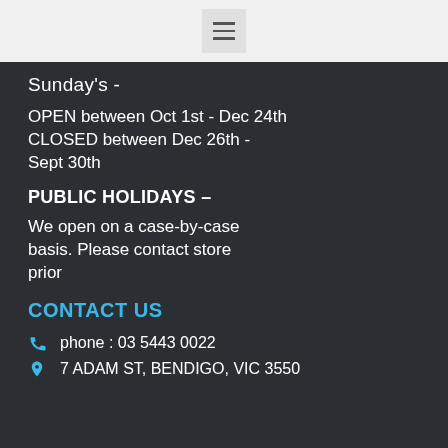[Figure (other): Hamburger menu icon button in a light grey header bar]
Sunday's -
OPEN between Oct 1st - Dec 24th
CLOSED between Dec 26th - Sept 30th
PUBLIC HOLIDAYS –
We open on a case-by-case basis. Please contact store prior
CONTACT US
phone : 03 5443 0022
7 ADAM ST, BENDIGO, VIC 3550